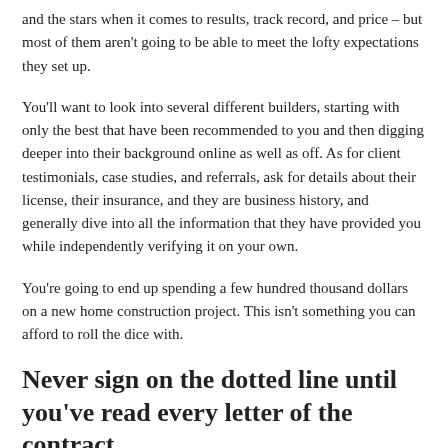and the stars when it comes to results, track record, and price – but most of them aren't going to be able to meet the lofty expectations they set up.
You'll want to look into several different builders, starting with only the best that have been recommended to you and then digging deeper into their background online as well as off. As for client testimonials, case studies, and referrals, ask for details about their license, their insurance, and they are business history, and generally dive into all the information that they have provided you while independently verifying it on your own.
You're going to end up spending a few hundred thousand dollars on a new home construction project. This isn't something you can afford to roll the dice with.
Never sign on the dotted line until you've read every letter of the contract.
Even working with the best of the best in your local area isn't going to guarantee that you wind up with your dream home on budget